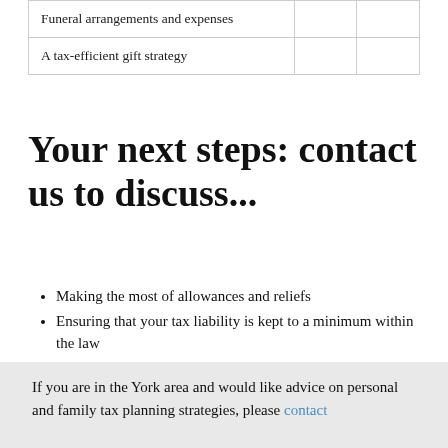| Funeral arrangements and expenses |  |  |
| A tax-efficient gift strategy |  |  |
Your next steps: contact us to discuss...
Making the most of allowances and reliefs
Ensuring that your tax liability is kept to a minimum within the law
Using savings, capital and other vehicles to give your children a better start in life
Writing a Will
Life insurance and obtaining disability and critical illness insurance
Tax-efficient savings and investments
If you are in the York area and would like advice on personal and family tax planning strategies, please contact